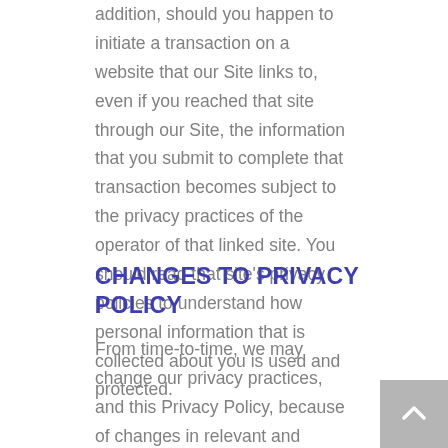addition, should you happen to initiate a transaction on a website that our Site links to, even if you reached that site through our Site, the information that you submit to complete that transaction becomes subject to the privacy practices of the operator of that linked site. You should read that site's privacy policies to understand how personal information that is collected about you is used and protected.
CHANGES TO PRIVACY POLICY
From time-to-time, we may change our privacy practices, and this Privacy Policy, because of changes in relevant and applicable legal or regulatory requirements, our business practices, or in our attempts to better serve your needs and those of our other customers. Notice of such changes to our